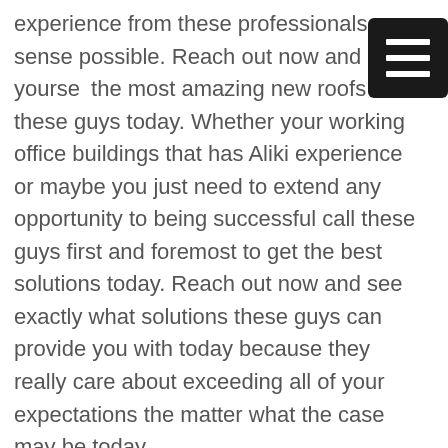experience from these professionals a sense possible. Reach out now and give yourself the most amazing new roofs from these guys today. Whether your working office buildings that has Aliki experience or maybe you just need to extend any opportunity to being successful call these guys first and foremost to get the best solutions today. Reach out now and see exactly what solutions these guys can provide you with today because they really care about exceeding all of your expectations the matter what the case may be today.

You will be very thankful to see what
[Figure (other): Hamburger menu icon — dark square with three horizontal white lines]